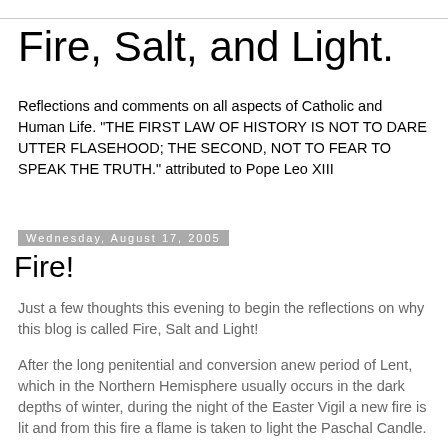Fire, Salt, and Light.
Reflections and comments on all aspects of Catholic and Human Life. "THE FIRST LAW OF HISTORY IS NOT TO DARE UTTER FLASEHOOD; THE SECOND, NOT TO FEAR TO SPEAK THE TRUTH." attributed to Pope Leo XIII
Wednesday, August 17, 2005
Fire!
Just a few thoughts this evening to begin the reflections on why this blog is called Fire, Salt and Light!
After the long penitential and conversion anew period of Lent, which in the Northern Hemisphere usually occurs in the dark depths of winter, during the night of the Easter Vigil a new fire is lit and from this fire a flame is taken to light the Paschal Candle.